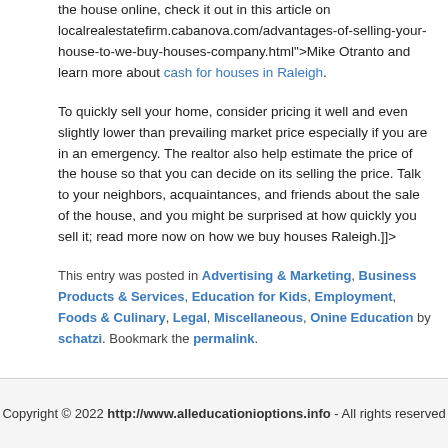the house online, check it out in this article on localrealestatefirm.cabanova.com/advantages-of-selling-your-house-to-we-buy-houses-company.html">Mike Otranto and learn more about cash for houses in Raleigh.
To quickly sell your home, consider pricing it well and even slightly lower than prevailing market price especially if you are in an emergency. The realtor also help estimate the price of the house so that you can decide on its selling the price. Talk to your neighbors, acquaintances, and friends about the sale of the house, and you might be surprised at how quickly you sell it; read more now on how we buy houses Raleigh.]]>
This entry was posted in Advertising & Marketing, Business Products & Services, Education for Kids, Employment, Foods & Culinary, Legal, Miscellaneous, Onine Education by schatzi. Bookmark the permalink.
Copyright © 2022 http://www.alleducationioptions.info - All rights reserved